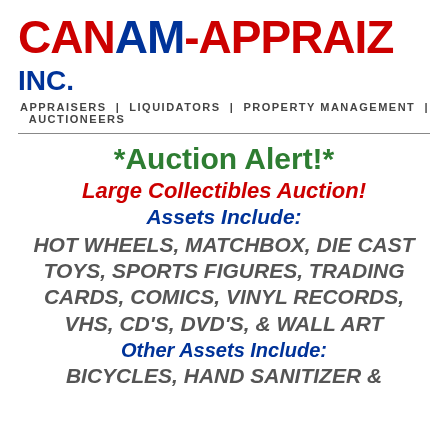[Figure (logo): CANAM-APPRAIZ INC. logo with red and blue lettering, tagline: APPRAISERS | LIQUIDATORS | PROPERTY MANAGEMENT | AUCTIONEERS]
*Auction Alert!*
Large Collectibles Auction!
Assets Include:
HOT WHEELS, MATCHBOX, DIE CAST TOYS, SPORTS FIGURES, TRADING CARDS, COMICS, VINYL RECORDS, VHS, CD'S, DVD'S, & WALL ART
Other Assets Include:
BICYCLES, HAND SANITIZER &